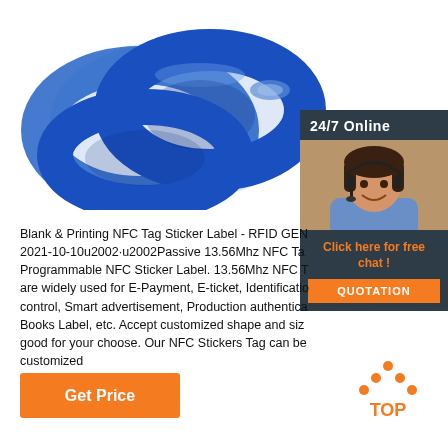[Figure (photo): Blue NFC silicone wristband product photo on white background]
[Figure (photo): Customer service chat widget with 24/7 Online label and woman with headset]
Blank & Printing NFC Tag Sticker Label - RFID GEN 2021-10-10u2002·u2002Passive 13.56Mhz NFC Tag Programmable NFC Sticker Label. 13.56Mhz NFC T are widely used for E-Payment, E-ticket, Identification control, Smart advertisement, Production authentica Books Label, etc. Accept customized shape and size good for your choose. Our NFC Stickers Tag can be customized made and programmed to ...
[Figure (logo): TOP logo with orange dots and text]
Get Price